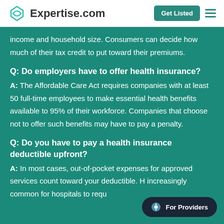Expertise.com
income and household size. Consumers can decide how much of their tax credit to put toward their premiums.
Q: Do employers have to offer health insurance?
A: The Affordable Care Act requires companies with at least 50 full-time employees to make essential health benefits available to 95% of their workforce. Companies that choose not to offer such benefits may have to pay a penalty.
Q: Do you have to pay a health insurance deductible upfront?
A: In most cases, out-of-pocket expenses for approved services count toward your deductible. H increasingly common for hospitals to requ